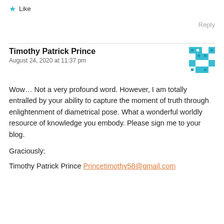[Figure (other): Star/Like button icon with 'Like' label in teal/cyan color]
Reply
Timothy Patrick Prince
August 24, 2020 at 11:37 pm
[Figure (other): Cyan/teal geometric mosaic avatar icon for user Timothy Patrick Prince]
Wow… Not a very profound word. However, I am totally entralled by your ability to capture the moment of truth through enlightenment of diametrical pose. What a wonderful worldly resource of knowledge you embody. Please sign me to your blog.
Graciously:
Timothy Patrick Prince Princetimothy58@gmail.com